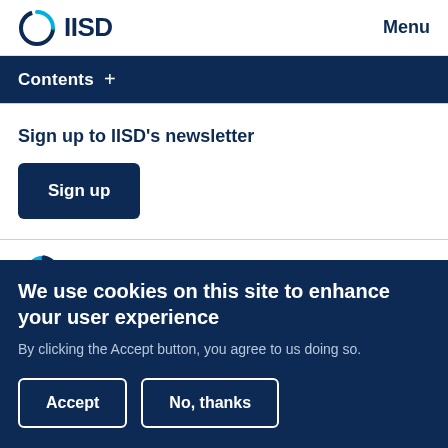IISD   Menu
Contents +
Sign up to IISD's newsletter
Sign up
We use cookies on this site to enhance your user experience
By clicking the Accept button, you agree to us doing so.
Accept   No, thanks